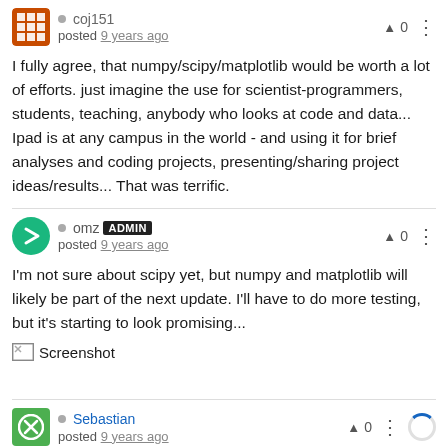coj151 posted 9 years ago
I fully agree, that numpy/scipy/matplotlib would be worth a lot of efforts. just imagine the use for scientist-programmers, students, teaching, anybody who looks at code and data... Ipad is at any campus in the world - and using it for brief analyses and coding projects, presenting/sharing project ideas/results... That was terrific.
omz ADMIN posted 9 years ago
I'm not sure about scipy yet, but numpy and matplotlib will likely be part of the next update. I'll have to do more testing, but it's starting to look promising...
[Figure (screenshot): Screenshot placeholder image with broken image icon and 'Screenshot' label]
Sebastian posted 9 years ago